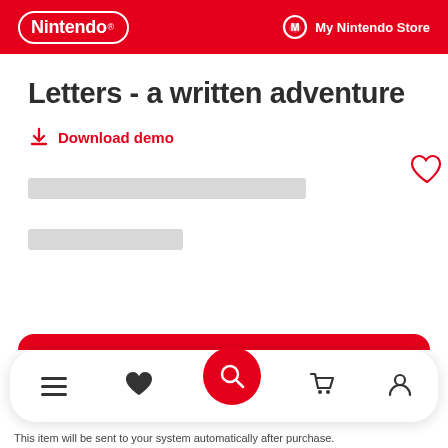Nintendo | My Nintendo Store
Letters - a written adventure
Download demo
[Figure (screenshot): Bottom navigation bar with menu, wishlist heart, search (red circle), cart, and account icons]
This item will be sent to your system automatically after purchase.